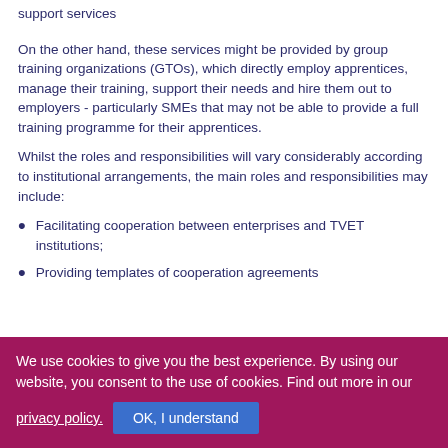support services
On the other hand, these services might be provided by group training organizations (GTOs), which directly employ apprentices, manage their training, support their needs and hire them out to employers - particularly SMEs that may not be able to provide a full training programme for their apprentices.
Whilst the roles and responsibilities will vary considerably according to institutional arrangements, the main roles and responsibilities may include:
Facilitating cooperation between enterprises and TVET institutions;
Providing templates of cooperation agreements
We use cookies to give you the best experience. By using our website, you consent to the use of cookies. Find out more in our privacy policy.